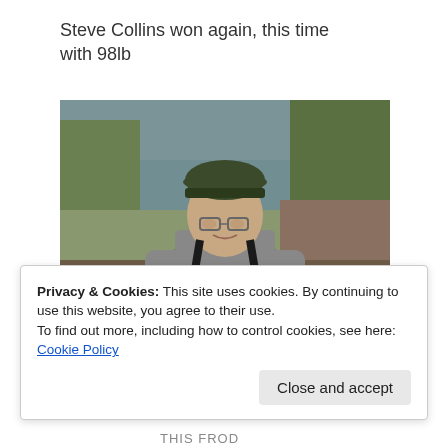Steve Collins won again, this time with 98lb
[Figure (photo): A man wearing a dark green cap and black overalls/waders crouching over a fishing weigh box by a canal or lake. He is looking at the camera. Green reeds and muddy bank visible in background.]
Privacy & Cookies: This site uses cookies. By continuing to use this website, you agree to their use.
To find out more, including how to control cookies, see here: Cookie Policy
Close and accept
THIS FROD